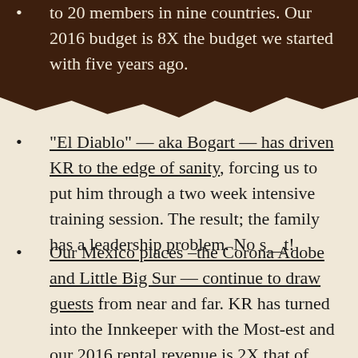to 20 members in nine countries.  Our 2016 budget is 8X the budget we started with five years ago.
"El Diablo" — aka Bogart — has driven KR to the edge of sanity, forcing us to put him through a two week intensive training session.  The result; the family has a leadership problem.  No s__t!
Our Mexico places –the Corona Adobe and Little Big Sur — continue to draw guests from near and far.  KR has turned into the Innkeeper with the Most-est and our 2016 rental revenue is 2X that of 2015.  Onward and upward!